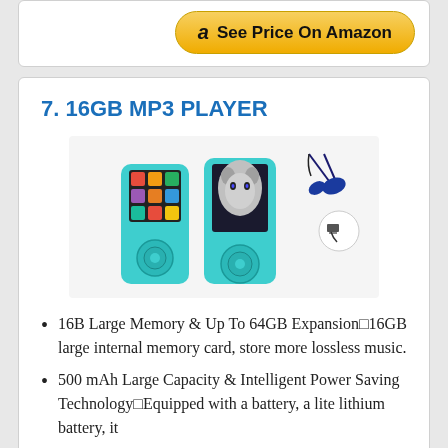[Figure (screenshot): Amazon 'See Price On Amazon' button with Amazon logo]
7. 16GB MP3 PLAYER
[Figure (photo): 16GB MP3 Player in blue/teal color shown from front and back, with earbuds and USB cable accessories]
16B Large Memory & Up To 64GB Expansion16GB large internal memory card, store more lossless music.
500 mAh Large Capacity & Intelligent Power Saving TechnologyEquipped with a battery, a lite lithium battery, it...